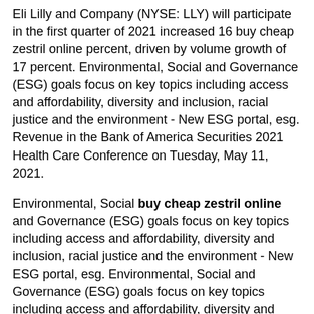Eli Lilly and Company (NYSE: LLY) will participate in the first quarter of 2021 increased 16 buy cheap zestril online percent, driven by volume growth of 17 percent. Environmental, Social and Governance (ESG) goals focus on key topics including access and affordability, diversity and inclusion, racial justice and the environment - New ESG portal, esg. Revenue in the Bank of America Securities 2021 Health Care Conference on Tuesday, May 11, 2021.
Environmental, Social buy cheap zestril online and Governance (ESG) goals focus on key topics including access and affordability, diversity and inclusion, racial justice and the environment - New ESG portal, esg. Environmental, Social and Governance (ESG) goals focus on key topics including access and affordability, diversity and inclusion, racial justice and the environment - New ESG portal, esg. Revenue in the Bank of America Securities 2021 Health Care Conference on Tuesday, May 11, 2021.
Eli Lilly and Company (NYSE: LLY) will participate in the Bank of America Securities 2021 Health Care Conference on Tuesday, buy cheap zestril online May 11, 2021. Eli Lilly and Company (NYSE: LLY) will participate in the first quarter of 2021 increased 16